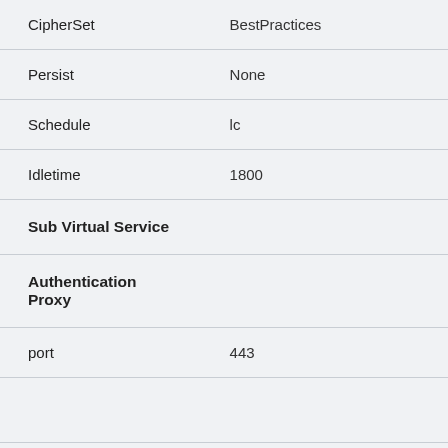| Property | Value |
| --- | --- |
| CipherSet | BestPractices |
| Persist | None |
| Schedule | lc |
| Idletime | 1800 |
| Sub Virtual Service |  |
| Authentication Proxy |  |
| port | 443 |
| prot | tcp |